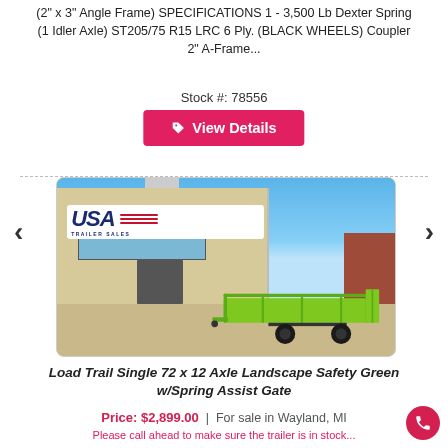(2" x 3" Angle Frame) SPECIFICATIONS 1 - 3,500 Lb Dexter Spring (1 Idler Axle) ST205/75 R15 LRC 6 Ply. (BLACK WHEELS) Coupler 2" A-Frame...
Stock #: 78556
View Details
[Figure (photo): Photo of a lime green utility trailer parked in front of USA Trailer Sales dealership building]
Load Trail Single 72 x 12 Axle Landscape Safety Green w/Spring Assist Gate
Price: $2,899.00  |  For sale in Wayland, MI
Please call ahead to make sure we have the trailer in stock